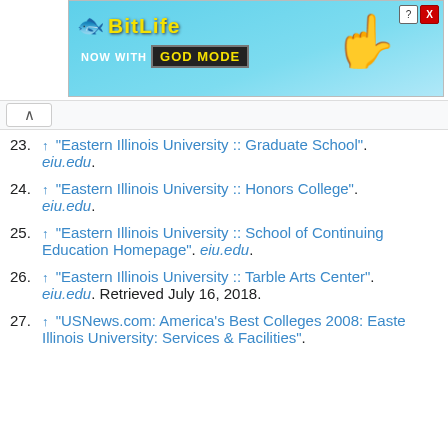[Figure (other): BitLife advertisement banner: 'BitLife NOW WITH GOD MODE' on blue background with pointing hand graphic and close/help buttons]
23. ↑ "Eastern Illinois University :: Graduate School". eiu.edu.
24. ↑ "Eastern Illinois University :: Honors College". eiu.edu.
25. ↑ "Eastern Illinois University :: School of Continuing Education Homepage". eiu.edu.
26. ↑ "Eastern Illinois University :: Tarble Arts Center". eiu.edu. Retrieved July 16, 2018.
27. ↑ "USNews.com: America's Best Colleges 2008: Eastern Illinois University: Services & Facilities".